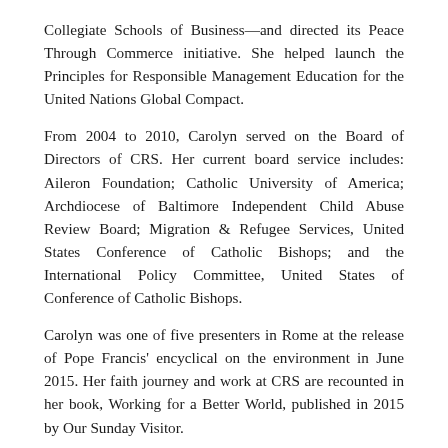Collegiate Schools of Business—and directed its Peace Through Commerce initiative. She helped launch the Principles for Responsible Management Education for the United Nations Global Compact.
From 2004 to 2010, Carolyn served on the Board of Directors of CRS. Her current board service includes: Aileron Foundation; Catholic University of America; Archdiocese of Baltimore Independent Child Abuse Review Board; Migration & Refugee Services, United States Conference of Catholic Bishops; and the International Policy Committee, United States of Conference of Catholic Bishops.
Carolyn was one of five presenters in Rome at the release of Pope Francis' encyclical on the environment in June 2015. Her faith journey and work at CRS are recounted in her book, Working for a Better World, published in 2015 by Our Sunday Visitor.
Representing CRS, Carolyn was featured in the May/June 2013 issue of Foreign Policy as one of the 500 Most Powerful people